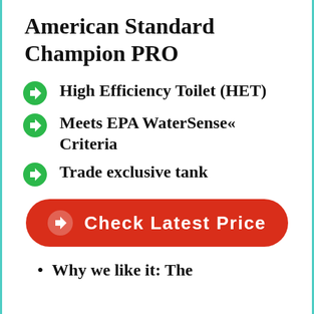American Standard Champion PRO
High Efficiency Toilet (HET)
Meets EPA WaterSense« Criteria
Trade exclusive tank
Check Latest Price
Why we like it: The